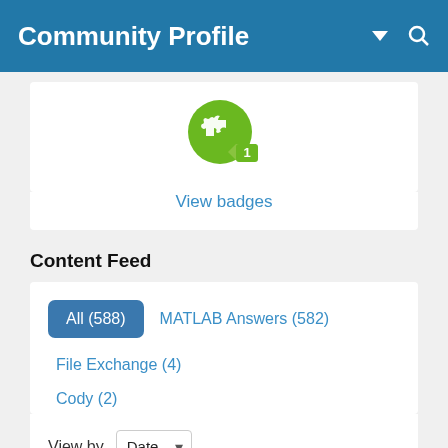Community Profile
[Figure (illustration): Green circular badge icon with white puzzle piece and a small ribbon with number 1]
View badges
Content Feed
All (588)  MATLAB Answers (582)  File Exchange (4)  Cody (2)
View by  Date